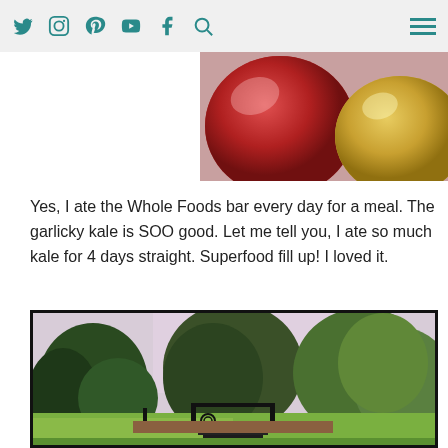Social media navigation icons: Twitter, Instagram, Pinterest, YouTube, Facebook, Search, Menu
[Figure (photo): Close-up photo of red and yellow apples]
Yes, I ate the Whole Foods bar every day for a meal. The garlicky kale is SOO good. Let me tell you, I ate so much kale for 4 days straight. Superfood fill up! I loved it.
[Figure (photo): Outdoor garden photo showing lush green trees and shrubs, with a black metal railing/stairs in the foreground on a grassy lawn]